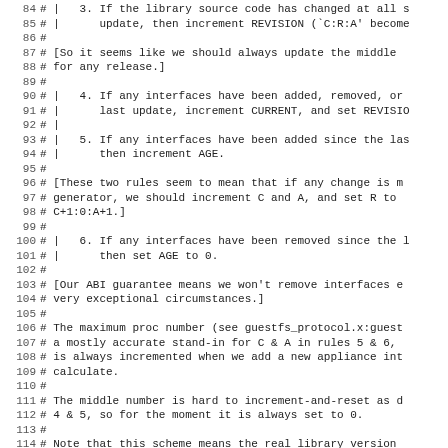Source code lines 84-115 of a Makefile or configure script with library versioning comments (CURRENT, REVISION, AGE rules for libtool versioning, guestfs protocol).